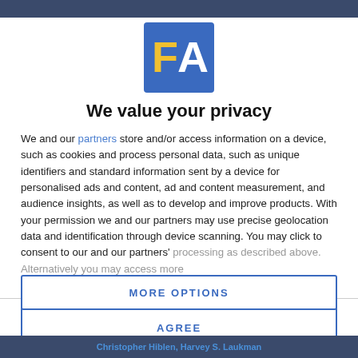[Figure (logo): FA logo — blue square with gold letter F and white letter A]
We value your privacy
We and our partners store and/or access information on a device, such as cookies and process personal data, such as unique identifiers and standard information sent by a device for personalised ads and content, ad and content measurement, and audience insights, as well as to develop and improve products. With your permission we and our partners may use precise geolocation data and identification through device scanning. You may click to consent to our and our partners' processing as described above. Alternatively you may access more
AGREE
MORE OPTIONS
Christopher Hiblen, Harvey S. Laukman